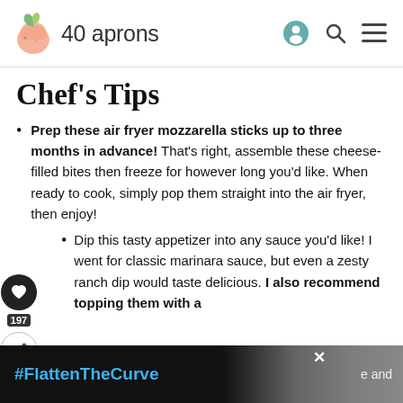40 aprons
Chef’s Tips
Prep these air fryer mozzarella sticks up to three months in advance! That’s right, assemble these cheese-filled bites then freeze for however long you’d like. When ready to cook, simply pop them straight into the air fryer, then enjoy!
Dip this tasty appetizer into any sauce you’d like! I went for classic marinara sauce, but even a zesty ranch dip would taste delicious. I also recommend topping them with a s…
[Figure (screenshot): Advertisement banner at bottom: black background with #FlattenTheCurve hashtag in blue and partial image of hand washing with soap, with close button]